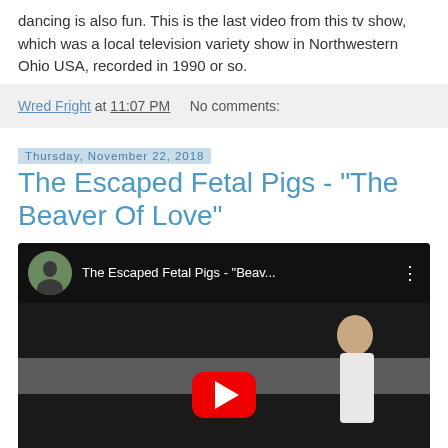dancing is also fun. This is the last video from this tv show, which was a local television variety show in Northwestern Ohio USA, recorded in 1990 or so.
Wred Fright at 11:07 PM   No comments:
Thursday, November 22, 2018
The Escaped Fetal Pigs - "The Beaver Of Love"
[Figure (screenshot): YouTube video embed showing 'The Escaped Fetal Pigs - "Beav...' with a play button overlay on a dark video frame showing a person, with a YouTube-style top bar with circular thumbnail.]